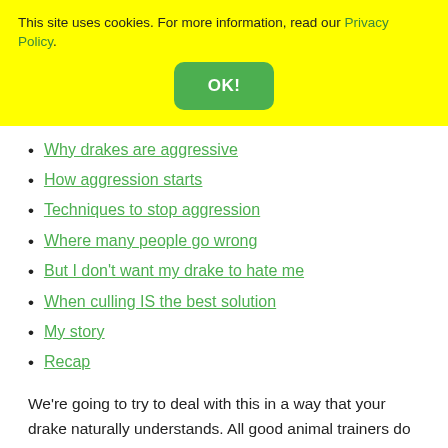This site uses cookies. For more information, read our Privacy Policy.
Why drakes are aggressive
How aggression starts
Techniques to stop aggression
Where many people go wrong
But I don't want my drake to hate me
When culling IS the best solution
My story
Recap
We're going to try to deal with this in a way that your drake naturally understands. All good animal trainers do this. Anyone who seems to get along with animals naturally and works beautifully with them, whatever the species, is able to do this because they understand the animal and how they think and why